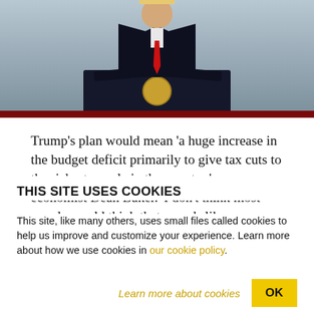[Figure (photo): Photo of a man in dark suit with red tie standing at a presidential podium with seal, against a light gray background with a dark red stripe at the bottom]
Trump's plan would mean 'a huge increase in the budget deficit primarily to give tax cuts to the richest people in the country,' says economist Dean Baker. 'I don't think most people would think that sounds like a very good idea'
THIS SITE USES COOKIES
This site, like many others, uses small files called cookies to help us improve and customize your experience. Learn more about how we use cookies in our cookie policy.
Learn more about cookies
OK